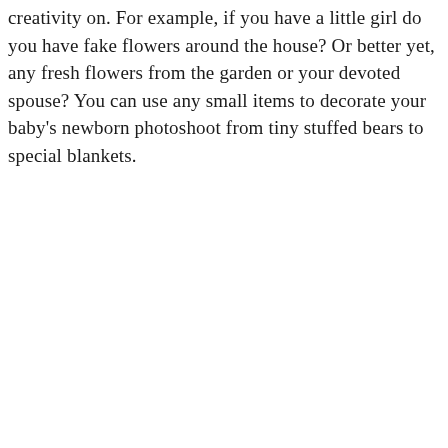creativity on. For example, if you have a little girl do you have fake flowers around the house? Or better yet, any fresh flowers from the garden or your devoted spouse? You can use any small items to decorate your baby's newborn photoshoot from tiny stuffed bears to special blankets.